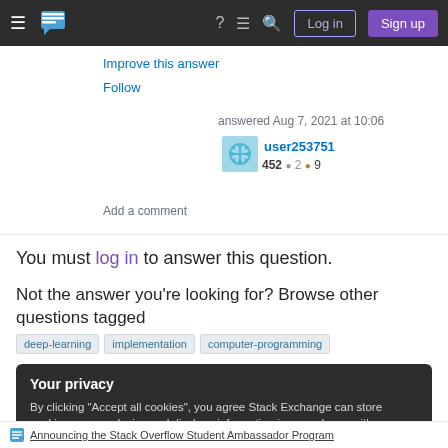Stack Exchange navigation bar with Log in and Sign up buttons
Improve this answer
Follow
answered Aug 7, 2021 at 10:06
user253751
452 ● 2 ● 9
Add a comment
You must log in to answer this question.
Not the answer you're looking for? Browse other questions tagged deep-learning implementation computer-programming
Your privacy
By clicking "Accept all cookies", you agree Stack Exchange can store cookies on your device and disclose information in accordance with our Cookie Policy.
Accept all cookies
Customize settings
Announcing the Stack Overflow Student Ambassador Program